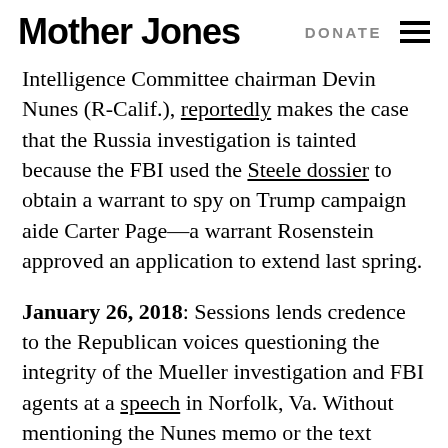Mother Jones | DONATE
Intelligence Committee chairman Devin Nunes (R-Calif.), reportedly makes the case that the Russia investigation is tainted because the FBI used the Steele dossier to obtain a warrant to spy on Trump campaign aide Carter Page—a warrant Rosenstein approved an application to extend last spring.
January 26, 2018: Sessions lends credence to the Republican voices questioning the integrity of the Mueller investigation and FBI agents at a speech in Norfolk, Va. Without mentioning the Nunes memo or the text messaging scandal, he speaks in favor of "eliminating political bias or favoritism—in either direction—from our investigations and prosecutions." He goes on to say that when